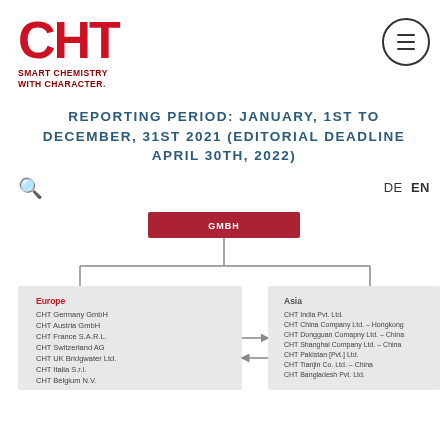[Figure (logo): CHT logo with red bold letters CHT and tagline SMART CHEMISTRY WITH CHARACTER. in dark red below]
REPORTING PERIOD: JANUARY, 1ST TO DECEMBER, 31ST 2021 (EDITORIAL DEADLINE APRIL 30TH, 2022)
[Figure (organizational-chart): Organizational chart showing GMBH at top, branching to Europe group (CHT Germany GmbH, CHT Austria GmbH, CHT France S.A.R.L., CHT Switzerland AG, CHT UK Bridgwater Ltd., CHT Italia S.r.l., CHT Belgium N.V.) and Asia group (CHT India Pvt. Ltd., CHT China Company Ltd. – Hongkong, CHT Dongguan Comapny Ltd. – China, CHT Shanghai Company Ltd. – China, CHT Pakistan [Pvt.] Ltd., CHT Tianjin Co. Ltd. – China, CHT Bangladesh Pvt. Ltd.)]